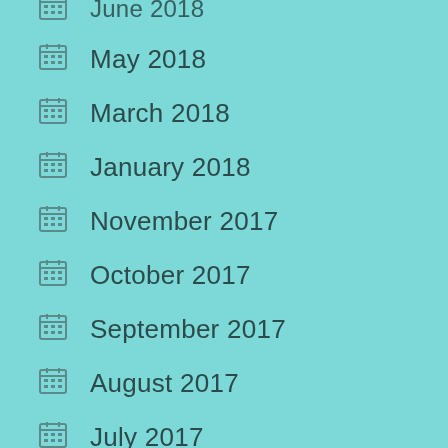June 2018 (partial, top clipped)
May 2018
March 2018
January 2018
November 2017
October 2017
September 2017
August 2017
July 2017
June 2017